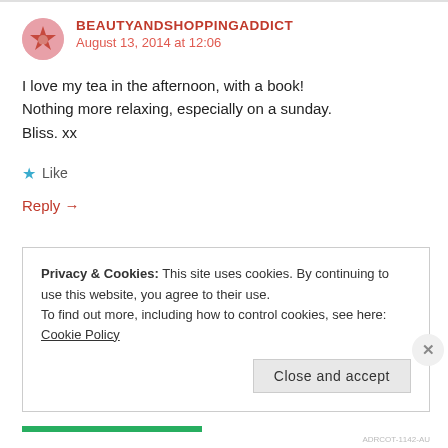BEAUTYANDSHOPPINGADDICT
August 13, 2014 at 12:06
I love my tea in the afternoon, with a book! Nothing more relaxing, especially on a sunday. Bliss. xx
Like
Reply →
Privacy & Cookies: This site uses cookies. By continuing to use this website, you agree to their use. To find out more, including how to control cookies, see here: Cookie Policy
Close and accept